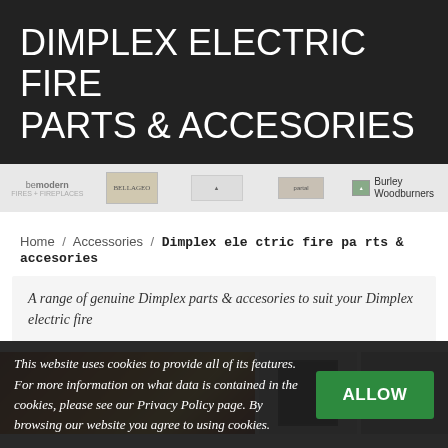DIMPLEX ELECTRIC FIRE PARTS & ACCESORIES
[Figure (logo): Logo bar with bemodern, Bellageo, unnamed brand, Partal, and Burley Woodburners logos]
Home / Accessories / Dimplex electric fire parts & accesories
A range of genuine Dimplex parts & accesories to suit your Dimplex electric fire
[Figure (photo): Dimplex electric fire product images - glowing flame effect fire on left, dark frame product in center, partial product on right]
This website uses cookies to provide all of its features. For more information on what data is contained in the cookies, please see our Privacy Policy page. By browsing our website you agree to using cookies.